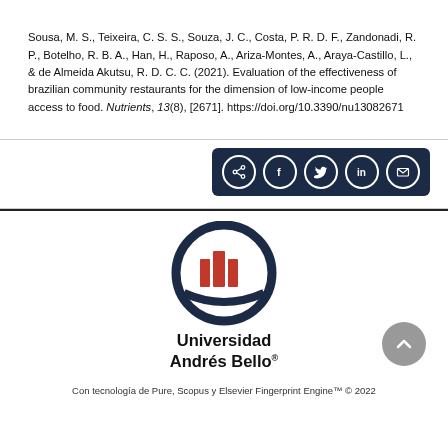Sousa, M. S., Teixeira, C. S. S., Souza, J. C., Costa, P. R. D. F., Zandonadi, R. P., Botelho, R. B. A., Han, H., Raposo, A., Ariza-Montes, A., Araya-Castillo, L., & de Almeida Akutsu, R. D. C. C. (2021). Evaluation of the effectiveness of brazilian community restaurants for the dimension of low-income people access to food. Nutrients, 13(8), [2671]. https://doi.org/10.3390/nu13082671
[Figure (other): Social share buttons: share, Facebook, Twitter, LinkedIn, email icons on dark navy background]
[Figure (logo): Universidad Andrés Bello logo — circular emblem with dark navy ring and red building icons, with text 'Universidad Andrés Bello' below]
Con tecnología de Pure, Scopus y Elsevier Fingerprint Engine™ © 2022